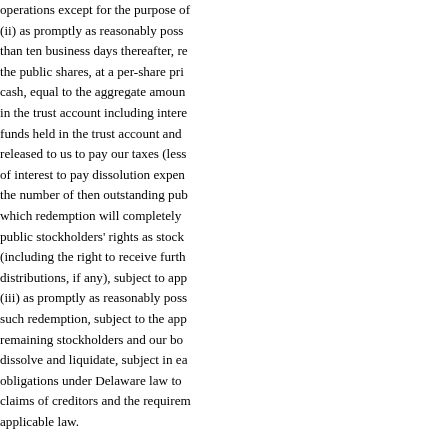operations except for the purpose of (ii) as promptly as reasonably possible, but not later than ten business days thereafter, redeem the public shares, at a per-share price, payable in cash, equal to the aggregate amount then on deposit in the trust account including interest (less funds held in the trust account and previously released to us to pay our taxes (less up to $100,000 of interest to pay dissolution expenses)), divided by the number of then outstanding public shares, which redemption will completely extinguish public stockholders' rights as stockholders (including the right to receive further liquidating distributions, if any), subject to applicable law; and (iii) as promptly as reasonably possible following such redemption, subject to the approval of our remaining stockholders and our board of directors, dissolve and liquidate, subject in each case to our obligations under Delaware law to provide for claims of creditors and the requirements of other applicable law.
115
Table of Contents
Terms of Our Offering